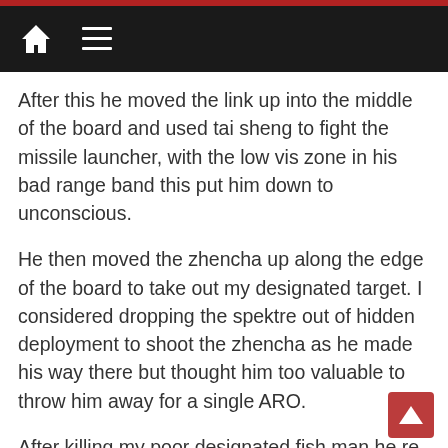After this he moved the link up into the middle of the board and used tai sheng to fight the missile launcher, with the low vis zone in his bad range band this put him down to unconscious.
He then moved the zhencha up along the edge of the board to take out my designated target. I considered dropping the spektre out of hidden deployment to shoot the zhencha as he made his way there but thought him too valuable to throw him away for a single ARO.
After killing my poor designated fish man he re camouflaged him and moved over to shoot up my hollowman spitfire. He forgot that surprise didn't work on the 4 man link but it didn't matter and he got the spitfire close to unconscious. However, the